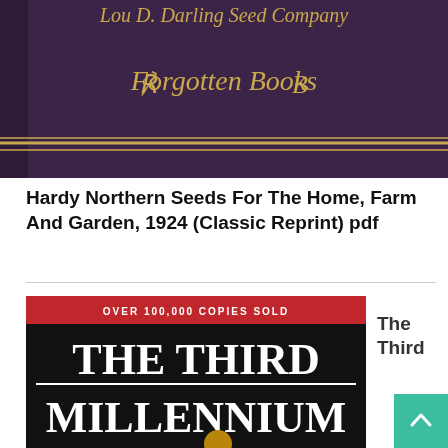[Figure (photo): Book cover of 'Hardy Northern Seeds For The Home, Farm And Garden, 1924' published by Forgotten Books. Purple/dark maroon cover with gold ornate lettering 'Forgotten Books' and decorative gold horizontal lines.]
Hardy Northern Seeds For The Home, Farm And Garden, 1924 (Classic Reprint) pdf
[Figure (photo): Book cover of 'The Third Millennium'. Black cover with red banner at top reading 'OVER 100,000 COPIES SOLD'. Large white bold serif text reads 'THE THIRD MILLENNIUM'. A coin or medallion is visible at the bottom.]
The Third